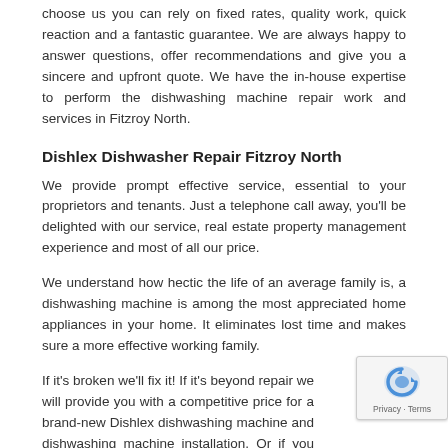choose us you can rely on fixed rates, quality work, quick reaction and a fantastic guarantee. We are always happy to answer questions, offer recommendations and give you a sincere and upfront quote. We have the in-house expertise to perform the dishwashing machine repair work and services in Fitzroy North.
Dishlex Dishwasher Repair Fitzroy North
We provide prompt effective service, essential to your proprietors and tenants. Just a telephone call away, you'll be delighted with our service, real estate property management experience and most of all our price.
We understand how hectic the life of an average family is, a dishwashing machine is among the most appreciated home appliances in your home. It eliminates lost time and makes sure a more effective working family.
If it's broken we'll fix it! If it's beyond repair we will provide you with a competitive price for a brand-new Dishlex dishwashing machine and dishwashing machine installation. Or if you have a brand-new appliance we are happy to look after the full installation.
You can depend on us to offer extensive and reputable dishwasher